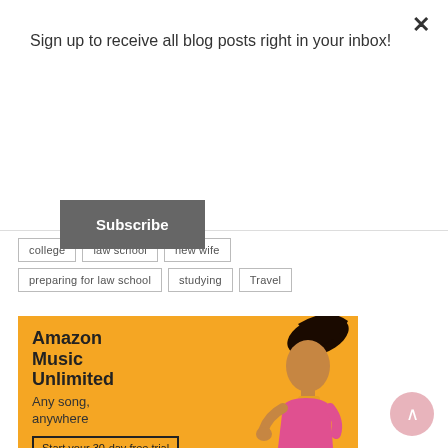Sign up to receive all blog posts right in your inbox!
Subscribe
college
law school
new wife
preparing for law school
studying
Travel
[Figure (infographic): Amazon Music Unlimited advertisement banner with yellow/orange background. Text reads: Amazon Music Unlimited, Any song, anywhere. Start your 30-day free trial. Woman in pink top jumping/posing on the right side.]